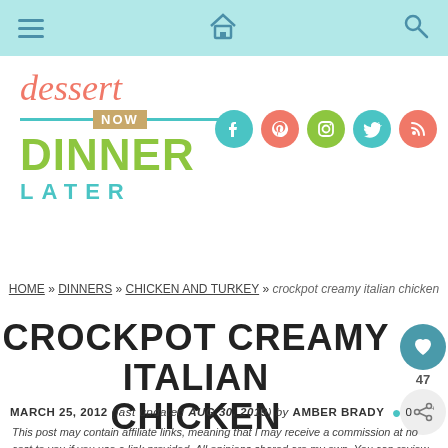Navigation bar with hamburger menu, home icon, and search icon
[Figure (logo): Dessert Now Dinner Later logo with cursive dessert text, rolling pin bar with NOW, bold green DINNER, and teal LATER text]
[Figure (infographic): Social media icons: Facebook (teal circle), Pinterest (salmon circle), Instagram (green circle), Twitter (teal circle), RSS (salmon circle)]
HOME » DINNERS » CHICKEN AND TURKEY » crockpot creamy italian chicken
CROCKPOT CREAMY ITALIAN CHICKEN
MARCH 25, 2012 (last updated AUG 30, 2019) by AMBER BRADY  ● 0
This post may contain affiliate links, meaning that I may receive a commission at no cost to you if you use a link provided. All opinions shared are my own. You can review